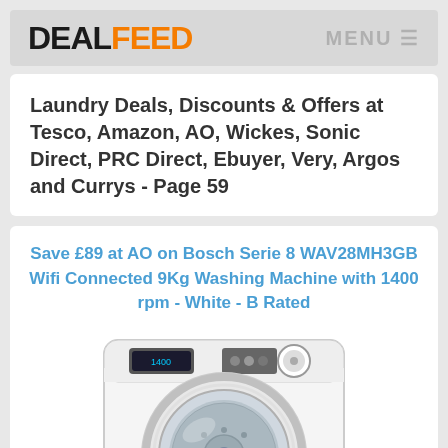DEALFEED   MENU
Laundry Deals, Discounts & Offers at Tesco, Amazon, AO, Wickes, Sonic Direct, PRC Direct, Ebuyer, Very, Argos and Currys - Page 59
Save £89 at AO on Bosch Serie 8 WAV28MH3GB Wifi Connected 9Kg Washing Machine with 1400 rpm - White - B Rated
[Figure (photo): White front-loading Bosch washing machine with chrome door ring and control panel at top right]